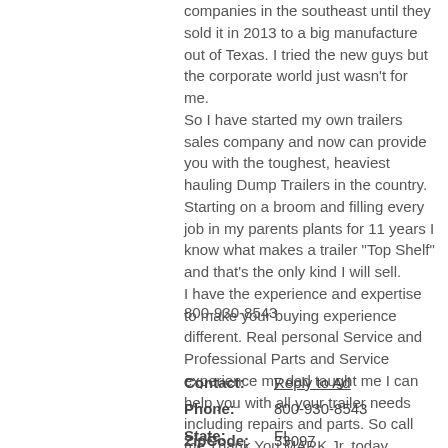companies in the southeast until they sold it in 2013 to a big manufacture out of Texas. I tried the new guys but the corporate world just wasn't for me.
So I have started my own trailers sales company and now can provide you with the toughest, heaviest hauling Dump Trailers in the country.
Starting on a broom and filling every job in my parents plants for 11 years I know what makes a trailer "Top Shelf" and that's the only kind I will sell.
I have the experience and expertise to make your buying experience different. Real personal Service and Professional Parts and Service experience my dad taught me I can help you with all your trailer needs including repairs and parts. So call me Thank You MARK Jr. today.
800-930-8543
Contact: Reply to Ad
Phone: 800-930-8543
State: FL
ZipCode: 33097